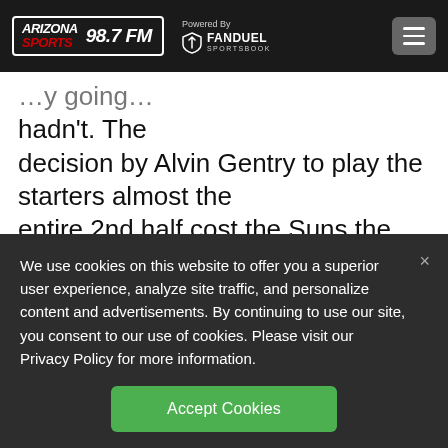Arizona Sports 98.7 FM — Powered By FanDuel Sportsbook
hadn't. The decision by Alvin Gentry to play the starters almost the entire 2nd half cost the Suns the game. If I was the owner of the Suns, I would have done the...
We use cookies on this website to offer you a superior user experience, analyze site traffic, and personalize content and advertisements. By continuing to use our site, you consent to our use of cookies. Please visit our Privacy Policy for more information.
Accept Cookies